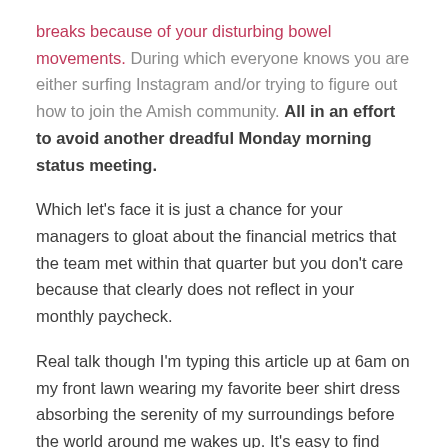breaks because of your disturbing bowel movements. During which everyone knows you are either surfing Instagram and/or trying to figure out how to join the Amish community. All in an effort to avoid another dreadful Monday morning status meeting.
Which let's face it is just a chance for your managers to gloat about the financial metrics that the team met within that quarter but you don't care because that clearly does not reflect in your monthly paycheck.
Real talk though I'm typing this article up at 6am on my front lawn wearing my favorite beer shirt dress absorbing the serenity of my surroundings before the world around me wakes up. It's easy to find inspiration when you're travelling, I mean even I've turned in to a philosopher (with a drinking problem) when I was in